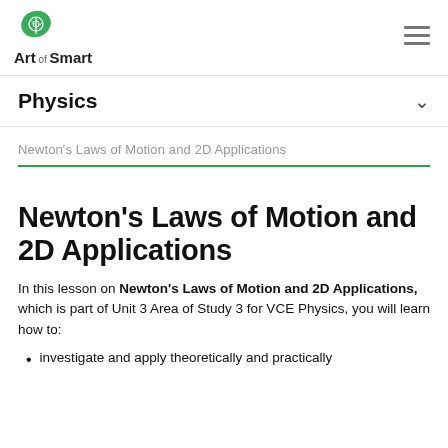Art of Smart [logo] [hamburger menu]
Physics
Newton's Laws of Motion and 2D Applications
Newton's Laws of Motion and 2D Applications
In this lesson on Newton's Laws of Motion and 2D Applications, which is part of Unit 3 Area of Study 3 for VCE Physics, you will learn how to:
investigate and apply theoretically and practically